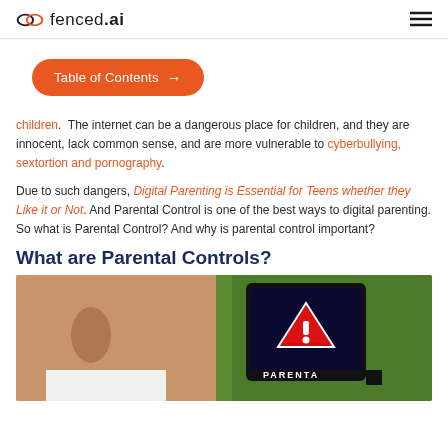fenced.ai
Table of Contents →
children. The internet can be a dangerous place for children, and they are innocent, lack common sense, and are more vulnerable to cyberbullying, sextortion and pornography.
Due to such dangers, Digital Parenting is Essential for Teens whether they Like it or Not. And Parental Control is one of the best ways to digital parenting. So what is Parental Control? And why is parental control important?
What are Parental Controls?
[Figure (photo): Child looking at a tablet device displaying a warning triangle icon and the text PARENTAL, photographed outdoors on grass]